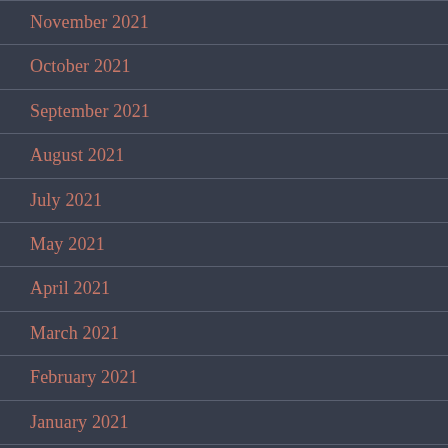November 2021
October 2021
September 2021
August 2021
July 2021
May 2021
April 2021
March 2021
February 2021
January 2021